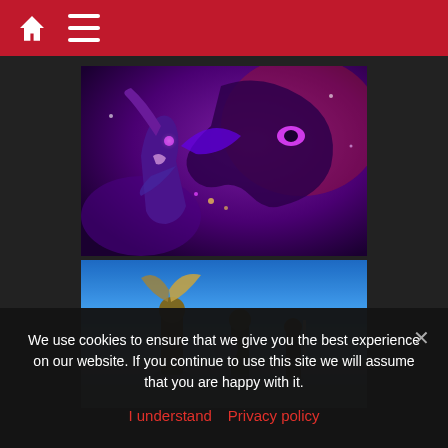Navigation bar with home icon and menu icon
[Figure (illustration): Video game artwork showing a female character in dark fantasy armor with glowing purple accents facing a large dragon-like creature against a dark purple/red background]
[Figure (illustration): Video game artwork showing three armored warrior characters with weapons on a blue icy battlefield background]
We use cookies to ensure that we give you the best experience on our website. If you continue to use this site we will assume that you are happy with it.
I understand   Privacy policy